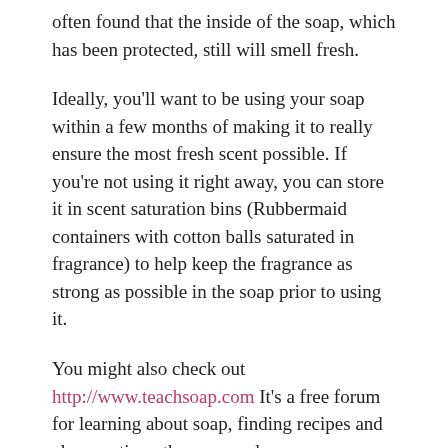often found that the inside of the soap, which has been protected, still will smell fresh.
Ideally, you'll want to be using your soap within a few months of making it to really ensure the most fresh scent possible. If you're not using it right away, you can store it in scent saturation bins (Rubbermaid containers with cotton balls saturated in fragrance) to help keep the fragrance as strong as possible in the soap prior to using it.
You might also check out http://www.teachsoap.com It's a free forum for learning about soap, finding recipes and also meeting other soapmakers.
Welcome to a fun hobby and business =)